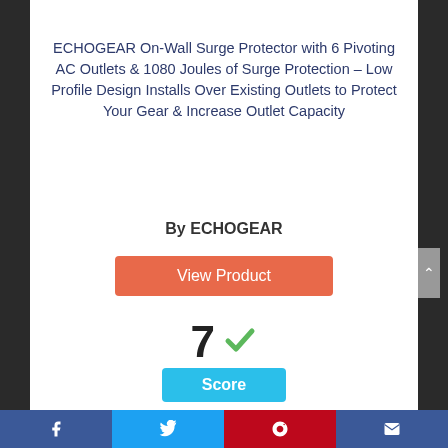[Figure (photo): Product photo of ECHOGEAR On-Wall Surge Protector, partially visible at top]
ECHOGEAR On-Wall Surge Protector with 6 Pivoting AC Outlets & 1080 Joules of Surge Protection – Low Profile Design Installs Over Existing Outlets to Protect Your Gear & Increase Outlet Capacity
By ECHOGEAR
View Product
7 ✓ Score